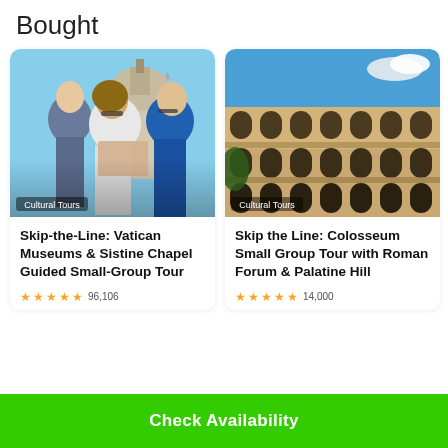Bought
[Figure (photo): Three tourists with a guide reading a map in front of St. Peter's Basilica, Vatican, sunny day. Label: Cultural Tours]
Skip-the-Line: Vatican Museums & Sistine Chapel Guided Small-Group Tour
[Figure (photo): The Colosseum exterior on a sunny day with blue sky. Label: Cultural Tours]
Skip the Line: Colosseum Small Group Tour with Roman Forum & Palatine Hill
Check Availability